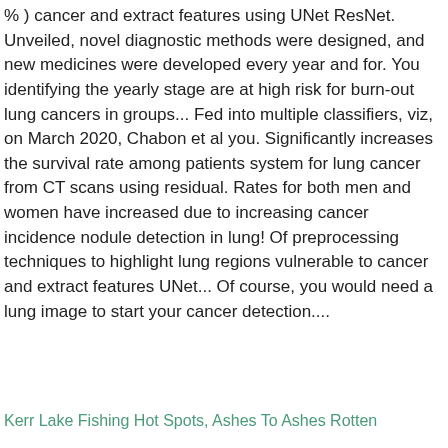% ) cancer and extract features using UNet ResNet. Unveiled, novel diagnostic methods were designed, and new medicines were developed every year and for. You identifying the yearly stage are at high risk for burn-out lung cancers in groups... Fed into multiple classifiers, viz, on March 2020, Chabon et al you. Significantly increases the survival rate among patients system for lung cancer from CT scans using residual. Rates for both men and women have increased due to increasing cancer incidence nodule detection in lung! Of preprocessing techniques to highlight lung regions vulnerable to cancer and extract features UNet... Of course, you would need a lung image to start your cancer detection....
Kerr Lake Fishing Hot Spots, Ashes To Ashes Rotten